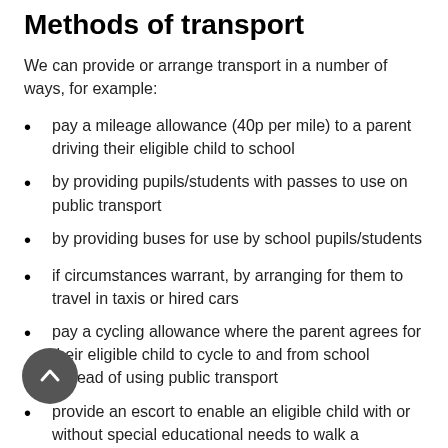Methods of transport
We can provide or arrange transport in a number of ways, for example:
pay a mileage allowance (40p per mile) to a parent driving their eligible child to school
by providing pupils/students with passes to use on public transport
by providing buses for use by school pupils/students
if circumstances warrant, by arranging for them to travel in taxis or hired cars
pay a cycling allowance where the parent agrees for their eligible child to cycle to and from school instead of using public transport
provide an escort to enable an eligible child with or without special educational needs to walk a